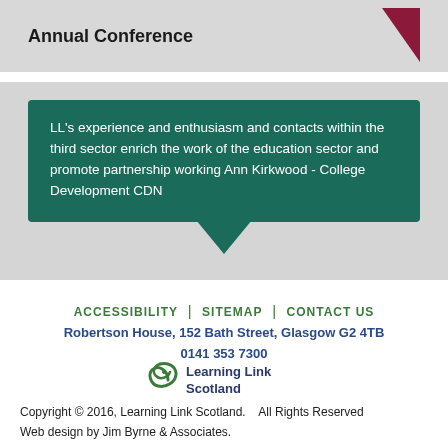Annual Conference
LL's experience and enthusiasm and contacts within the third sector enrich the work of the education sector and promote partnership working Ann Kirkwood - College Development CDN
ACCESSIBILITY | SITEMAP | CONTACT US
Robertson House, 152 Bath Street, Glasgow G2 4TB
0141 353 7300
[Figure (logo): Learning Link Scotland logo with stylized green spiral and text 'Learning Link Scotland' in dark blue]
Copyright © 2016, Learning Link Scotland.    All Rights Reserved
Web design by Jim Byrne & Associates.